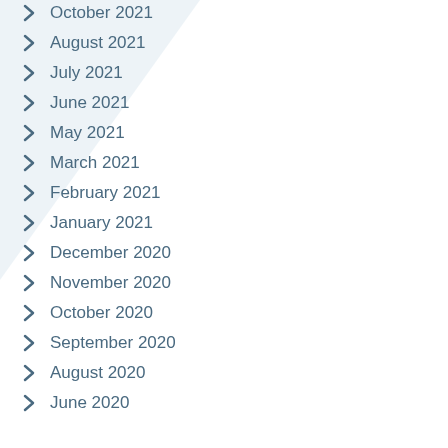October 2021
August 2021
July 2021
June 2021
May 2021
March 2021
February 2021
January 2021
December 2020
November 2020
October 2020
September 2020
August 2020
June 2020